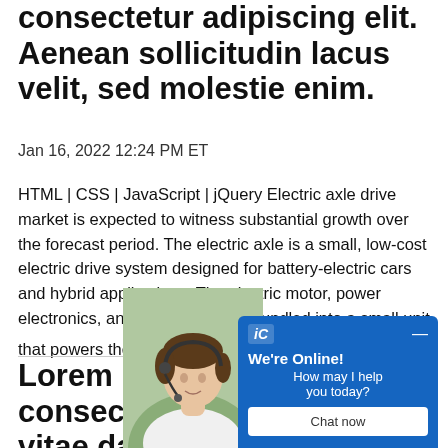consectetur adipiscing elit. Aenean sollicitudin lacus velit, sed molestie enim.
Jan 16, 2022 12:24 PM ET
HTML | CSS | JavaScript | jQuery Electric axle drive market is expected to witness substantial growth over the forecast period. The electric axle is a small, low-cost electric drive system designed for battery-electric cars and hybrid applications. The electric motor, power electronics, and gearbox are all bundled into a small unit that powers the […]
[Figure (photo): Woman wearing a headset, customer support representative, overlaid with a chat widget]
Lorem ipsum d... consectetur ac... vitae dapibus orci, nec tinidma nisi.